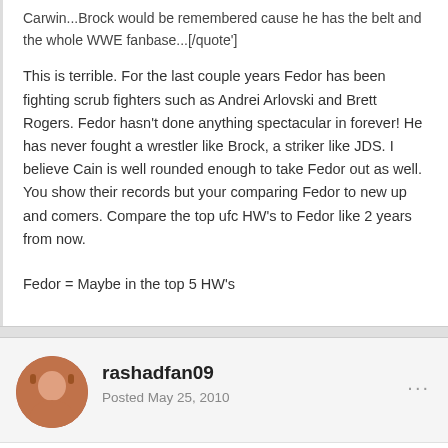Carwin...Brock would be remembered cause he has the belt and the whole WWE fanbase...[/quote']
This is terrible. For the last couple years Fedor has been fighting scrub fighters such as Andrei Arlovski and Brett Rogers. Fedor hasn't done anything spectacular in forever! He has never fought a wrestler like Brock, a striker like JDS. I believe Cain is well rounded enough to take Fedor out as well. You show their records but your comparing Fedor to new up and comers. Compare the top ufc HW's to Fedor like 2 years from now.
Fedor = Maybe in the top 5 HW's
rashadfan09
Posted May 25, 2010